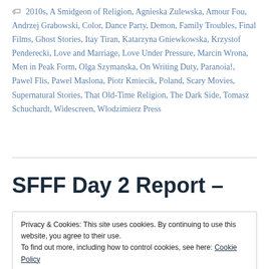🏷 2010s, A Smidgeon of Religion, Agnieska Zulewska, Amour Fou, Andrzej Grabowski, Color, Dance Party, Demon, Family Troubles, Final Films, Ghost Stories, Itay Tiran, Katarzyna Gniewkowska, Krzystof Penderecki, Love and Marriage, Love Under Pressure, Marcin Wrona, Men in Peak Form, Olga Szymanska, On Writing Duty, Paranoia!, Pawel Flis, Pawel Maslona, Piotr Kmiecik, Poland, Scary Movies, Supernatural Stories, That Old-Time Religion, The Dark Side, Tomasz Schuchardt, Widescreen, Wlodzimierz Press
SFFF Day 2 Report –
Privacy & Cookies: This site uses cookies. By continuing to use this website, you agree to their use.
To find out more, including how to control cookies, see here: Cookie Policy